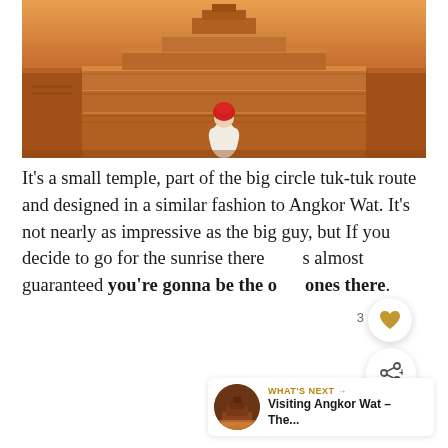[Figure (photo): A person with a red head covering viewed from behind, standing before a large ancient stone temple (Angkor Wat style) with tiered stone tiers in warm golden-brown tones]
It's a small temple, part of the big circle tuk-tuk route and designed in a similar fashion to Angkor Wat. It's not nearly as impressive as the big guy, but If you decide to go for the sunrise there's almost guaranteed you're gonna be the only ones there.
[Figure (photo): Small circular thumbnail of Angkor Wat temple at dusk/dawn with warm orange sky, used as 'What's Next' preview image]